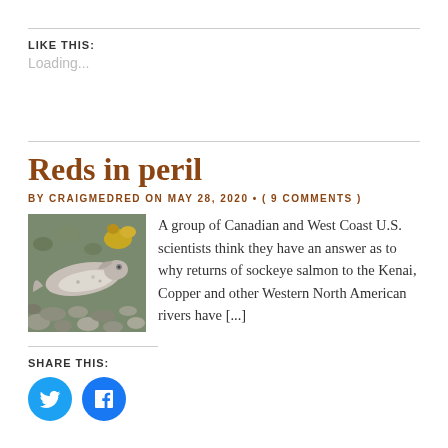LIKE THIS:
Loading...
Reds in peril
BY CRAIGMEDRED ON MAY 28, 2020 • ( 9 COMMENTS )
[Figure (photo): A dead sockeye salmon lying on rocky gravel shore with yellow lichen visible in the background]
A group of Canadian and West Coast U.S. scientists think they have an answer as to why returns of sockeye salmon to the Kenai, Copper and other Western North American rivers have [...]
SHARE THIS:
[Figure (illustration): Twitter share button - circular teal/blue button with Twitter bird icon]
[Figure (illustration): Facebook share button - circular blue button with Facebook 'f' icon]